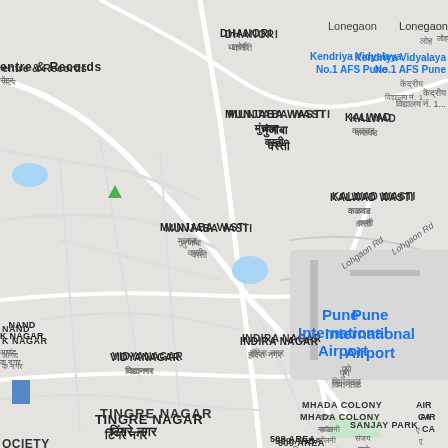[Figure (map): Google Maps screenshot showing area around Pune International Airport, India. Visible localities include Dhanori, Munjaba Wasti, Kalwad, Kalwad Wasti, Munjaba Vasti, Indira Nagar, Vidyanagar, Tingre Nagar, 509 Area, Sanjay Park, Mhada Colony, Viman Nagar, and Lohgaon. Kendriya Vidyalaya No.1 AFS Pune and Phoenix Marketcity Viman Nagar are marked. Lohgaon Rd is visible. A small blue water body appears near the center of the map.]